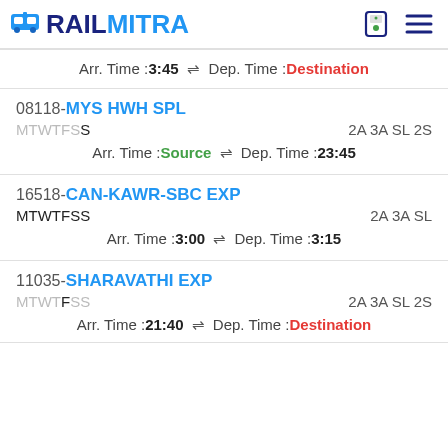RAILMITRA
Arr. Time :3:45  ⇌  Dep. Time :Destination
08118-MYS HWH SPL  MTWTFSS  2A 3A SL 2S  Arr. Time :Source ⇌ Dep. Time :23:45
16518-CAN-KAWR-SBC EXP  MTWTFSS  2A 3A SL  Arr. Time :3:00 ⇌ Dep. Time :3:15
11035-SHARAVATHI EXP  MTWTFSS  2A 3A SL 2S  Arr. Time :21:40 ⇌ Dep. Time :Destination